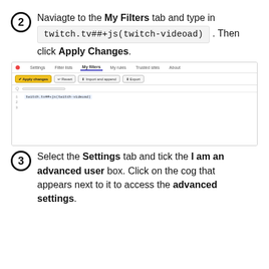2 Naviagte to the My Filters tab and type in twitch.tv##+js(twitch-videoad) . Then click Apply Changes.
[Figure (screenshot): Screenshot of a browser extension filter list editor showing the My Filters tab active, with Apply changes, Revert, Import and append, and Export buttons. The filter text 'twitch.tv##+js(twitch-videoad)' is entered in the editor.]
3 Select the Settings tab and tick the I am an advanced user box. Click on the cog that appears next to it to access the advanced settings.